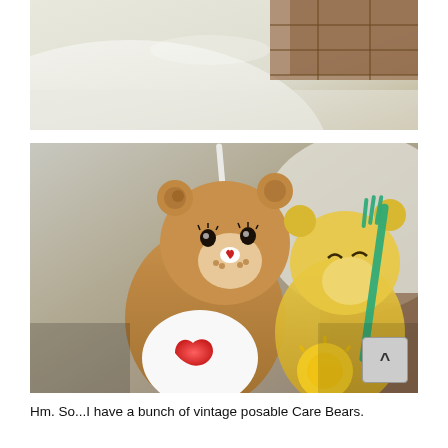[Figure (photo): Close-up photo showing a white ceramic surface (possibly a sink or tub) with a brown/wooden ledge or edge in the background, blurred soft-focus image.]
[Figure (photo): Photo of two vintage posable Care Bear figurines — a brown/tan bear with a red heart on its belly holding a white toothbrush/straw, and a yellow bear beside it holding a green fork/utensil, in a bathroom setting.]
Hm. So...I have a bunch of vintage posable Care Bears.